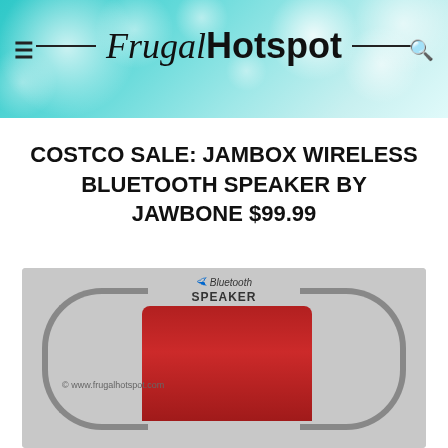Frugal Hotspot
COSTCO SALE: JAMBOX WIRELESS BLUETOOTH SPEAKER BY JAWBONE $99.99
[Figure (photo): Photo of Jawbone Jambox Wireless Bluetooth Speaker in red/burgundy color, shown in retail packaging or display, with Bluetooth logo and 'SPEAKER' label visible. Watermark reads © www.frugalhotspot.com]